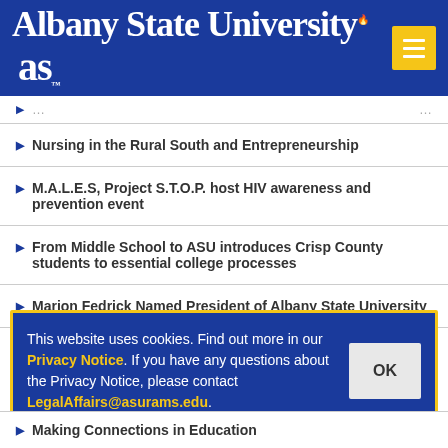[Figure (logo): Albany State University logo with stylized 'as' emblem on blue background, yellow menu button with hamburger icon]
Nursing in the Rural South and Entrepreneurship
M.A.L.E.S, Project S.T.O.P. host HIV awareness and prevention event
From Middle School to ASU introduces Crisp County students to essential college processes
Marion Fedrick Named President of Albany State University
This website uses cookies. Find out more in our Privacy Notice. If you have any questions about the Privacy Notice, please contact LegalAffairs@asurams.edu.
Making Connections in Education